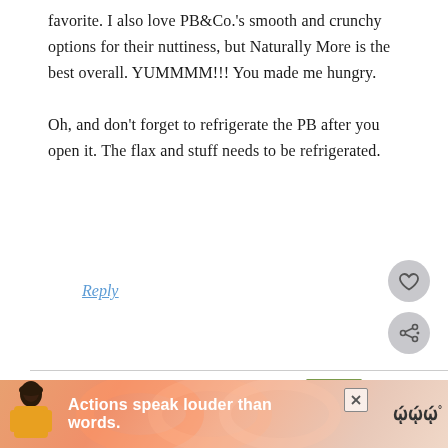favorite. I also love PB&Co.'s smooth and crunchy options for their nuttiness, but Naturally More is the best overall. YUMMMM!!! You made me hungry.

Oh, and don't forget to refrigerate the PB after you open it. The flax and stuff needs to be refrigerated.
Reply
[Figure (other): Heart like button icon (circular grey button with heart symbol)]
[Figure (other): Share button icon (circular grey button with share symbol)]
[Figure (other): What's Next widget showing food image thumbnail with text 'WHAT'S NEXT → Who Loves Peanut...']
Kelsey Miles says
[Figure (infographic): Advertisement banner with coral/pink gradient background showing a person figure and text 'Actions speak louder than words.' with a close button and logo]